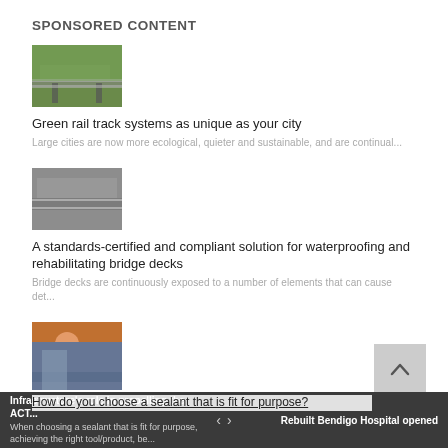SPONSORED CONTENT
[Figure (photo): Green rail track thumbnail image]
Green rail track systems as unique as your city
Large cities are now more ecological, quieter and sustainable, and are continual...
[Figure (photo): Bridge waterproofing thumbnail image]
A standards-certified and compliant solution for waterproofing and rehabilitating bridge decks
Bridge decks are continuously exposed to a number of elements that can cause det...
[Figure (photo): Worker with tablet thumbnail image]
Improving safety behaviour through digitalisation
Risks in the construction and infrastructure sector are ever present. However, y...
[Figure (photo): Sealant/construction thumbnail image (partial)]
How do you choose a sealant that is fit for purpose?
Infrastructure's role in propelling the ACT... | Rebuilt Bendigo Hospital opened